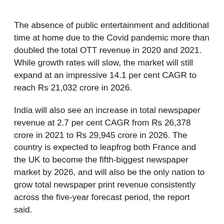The absence of public entertainment and additional time at home due to the Covid pandemic more than doubled the total OTT revenue in 2020 and 2021. While growth rates will slow, the market will still expand at an impressive 14.1 per cent CAGR to reach Rs 21,032 crore in 2026.
India will also see an increase in total newspaper revenue at 2.7 per cent CAGR from Rs 26,378 crore in 2021 to Rs 29,945 crore in 2026. The country is expected to leapfrog both France and the UK to become the fifth-biggest newspaper market by 2026, and will also be the only nation to grow total newspaper print revenue consistently across the five-year forecast period, the report said.